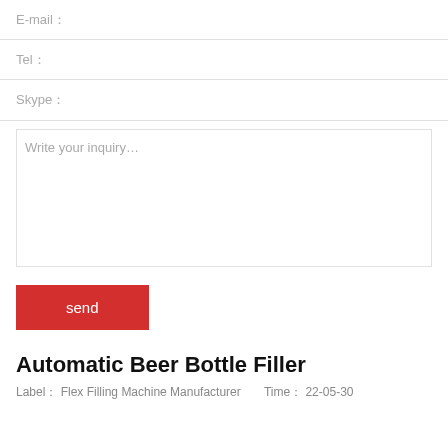E-mail：
Tel：
Skype：
Write your inquiry…
send
Automatic Beer Bottle Filler
Label： Flex Filling Machine Manufacturer    Time： 22-05-30